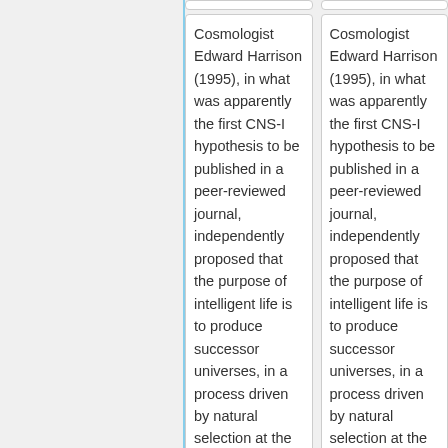Cosmologist Edward Harrison (1995), in what was apparently the first CNS-I hypothesis to be published in a peer-reviewed journal, independently proposed that the purpose of intelligent life is to produce successor universes, in a process driven by natural selection at the universal scale.
Cosmologist Edward Harrison (1995), in what was apparently the first CNS-I hypothesis to be published in a peer-reviewed journal, independently proposed that the purpose of intelligent life is to produce successor universes, in a process driven by natural selection at the universal scale.
Line 45:
Line 47: